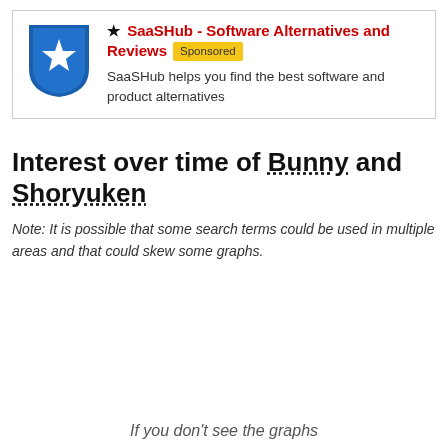[Figure (logo): SaaSHub shield logo — blue shield with white star]
★ SaaSHub - Software Alternatives and Reviews [Sponsored]
SaaSHub helps you find the best software and product alternatives
Interest over time of Bunny and Shoryuken
Note: It is possible that some search terms could be used in multiple areas and that could skew some graphs.
If you don't see the graphs